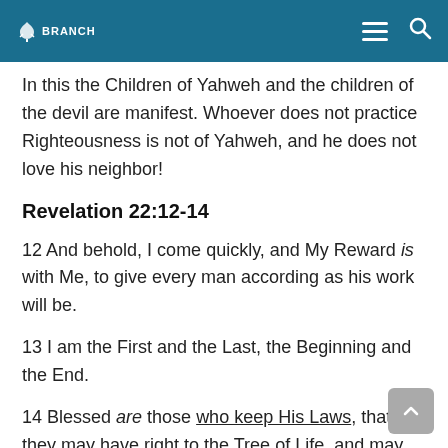BRANCH
In this the Children of Yahweh and the children of the devil are manifest. Whoever does not practice Righteousness is not of Yahweh, and he does not love his neighbor!
Revelation 22:12-14
12 And behold, I come quickly, and My Reward is with Me, to give every man according as his work will be.
13 I am the First and the Last, the Beginning and the End.
14 Blessed are those who keep His Laws, that they may have right to the Tree of Life, and may enter in through the gates into the City.